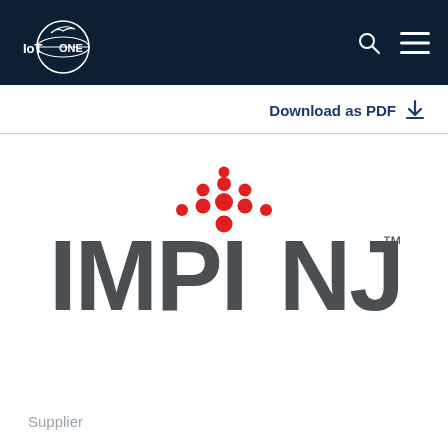IoT ONE
Download as PDF
[Figure (logo): Impinj logo with red dot pattern above and large gray IMPINJ text with TM mark]
Supplier